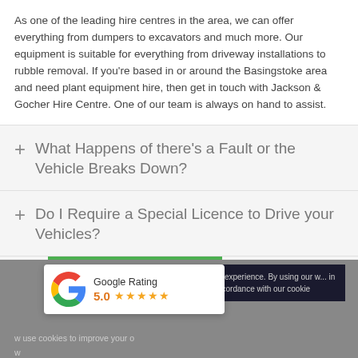As one of the leading hire centres in the area, we can offer everything from dumpers to excavators and much more. Our equipment is suitable for everything from driveway installations to rubble removal. If you're based in or around the Basingstoke area and need plant equipment hire, then get in touch with Jackson & Gocher Hire Centre. One of our team is always on hand to assist.
What Happens of there's a Fault or the Vehicle Breaks Down?
Do I Require a Special Licence to Drive your Vehicles?
Google Rating 5.0
We use cookies to improve your online experience. By using our website you agree to the use of cookies in accordance with our cookie policy. I accept